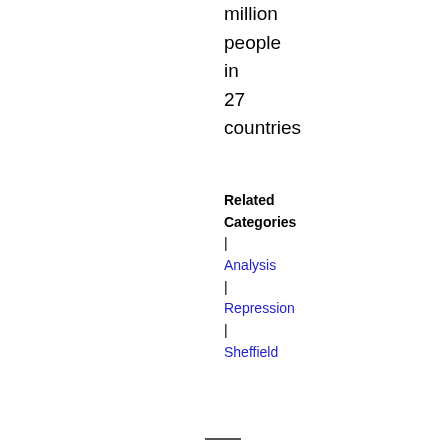million
people
in
27
countries
Related Categories
|
Analysis
|
Repression
|
Sheffield
Full article ▶
America And Britain Asked Poland To Host Secret CIA Gulag
11-